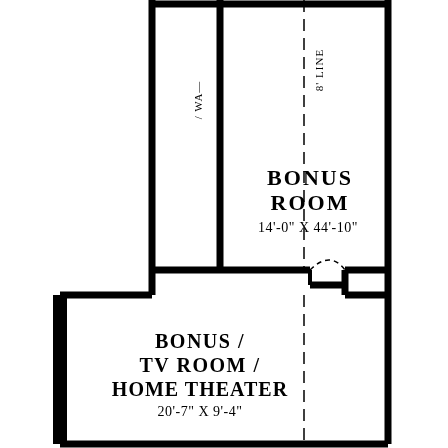[Figure (engineering-diagram): Architectural floor plan showing two rooms: 'BONUS ROOM' (14'-0" X 44'-10") in the upper section and 'BONUS / TV ROOM / HOME THEATER' (20'-7" X 9'-4") in the lower section. The plan includes wall thickness lines, a dashed centerline, and a door swing arc. Labels indicate wall type and 8' line annotations at the top.]